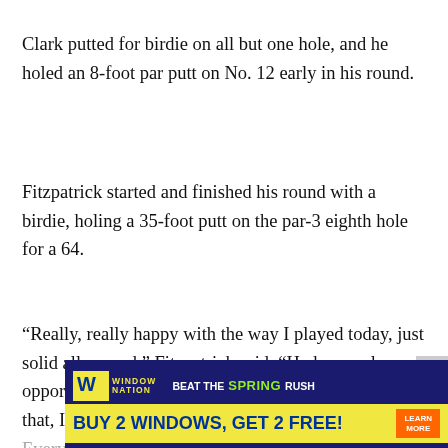Clark putted for birdie on all but one hole, and he holed an 8-foot par putt on No. 12 early in his round.
Fitzpatrick started and finished his round with a birdie, holing a 35-foot putt on the par-3 eighth hole for a 64.
“Really, really happy with the way I played today, just solid all around,” Fitzpatrick said. “Had a couple opportunities to chip it a little bit closer, but other than that, I’m being really picky. Every
[Figure (advertisement): Window Nation advertisement: Beat the Spring Rush - Buy 2 Windows, Get 2 Free! with Learn More button]